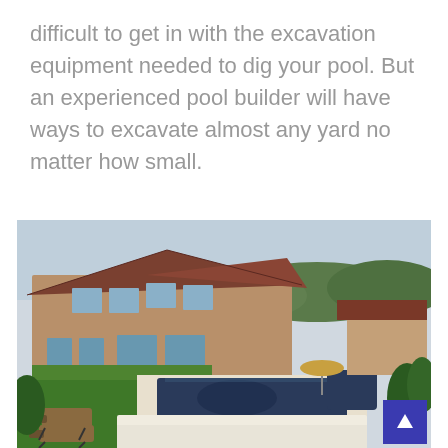difficult to get in with the excavation equipment needed to dig your pool. But an experienced pool builder will have ways to excavate almost any yard no matter how small.
[Figure (photo): Aerial view of a large residential home with a rectangular swimming pool, spa, lounge chairs, manicured lawn, patio, and surrounding landscaping with trees.]